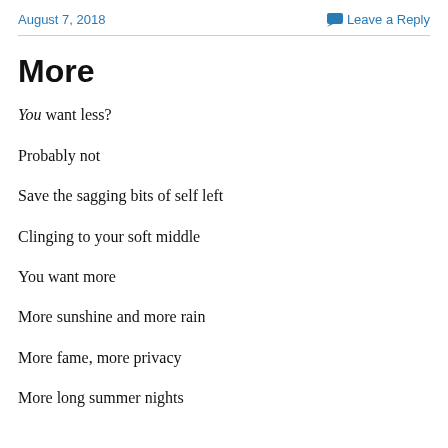August 7, 2018   Leave a Reply
More
You want less?
Probably not
Save the sagging bits of self left
Clinging to your soft middle
You want more
More sunshine and more rain
More fame, more privacy
More long summer nights